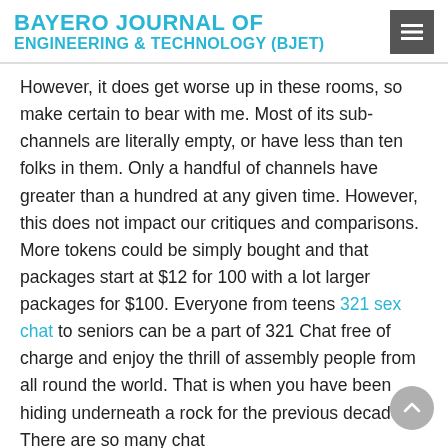BAYERO JOURNAL OF ENGINEERING & TECHNOLOGY (BJET)
However, it does get worse up in these rooms, so make certain to bear with me. Most of its sub-channels are literally empty, or have less than ten folks in them. Only a handful of channels have greater than a hundred at any given time. However, this does not impact our critiques and comparisons. More tokens could be simply bought and that packages start at $12 for 100 with a lot larger packages for $100. Everyone from teens 321 sex chat to seniors can be a part of 321 Chat free of charge and enjoy the thrill of assembly people from all round the world. That is when you have been hiding underneath a rock for the previous decade. There are so many chat